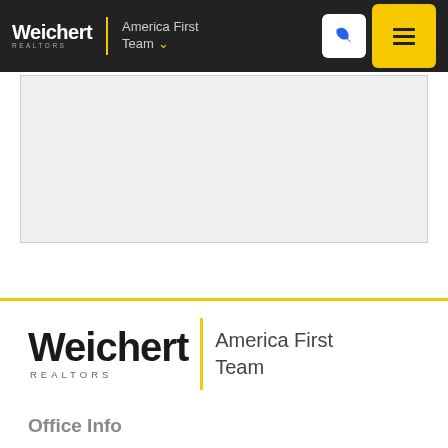Weichert REALTORS | America First Team
[Figure (screenshot): Map or image placeholder area with light gray background and thin border]
[Figure (logo): Weichert REALTORS America First Team logo - large footer version with yellow vertical divider]
Office Info